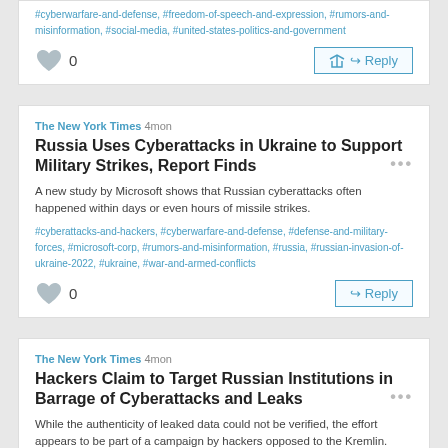#cyberwarfare-and-defense, #freedom-of-speech-and-expression, #rumors-and-misinformation, #social-media, #united-states-politics-and-government
0   Reply
The New York Times 4mon
Russia Uses Cyberattacks in Ukraine to Support Military Strikes, Report Finds
A new study by Microsoft shows that Russian cyberattacks often happened within days or even hours of missile strikes.
#cyberattacks-and-hackers, #cyberwarfare-and-defense, #defense-and-military-forces, #microsoft-corp, #rumors-and-misinformation, #russia, #russian-invasion-of-ukraine-2022, #ukraine, #war-and-armed-conflicts
0   Reply
The New York Times 4mon
Hackers Claim to Target Russian Institutions in Barrage of Cyberattacks and Leaks
While the authenticity of leaked data could not be verified, the effort appears to be part of a campaign by hackers opposed to the Kremlin.
#cyberattacks-and-hackers, #cyberwarfare-and-defense, #defense-and-